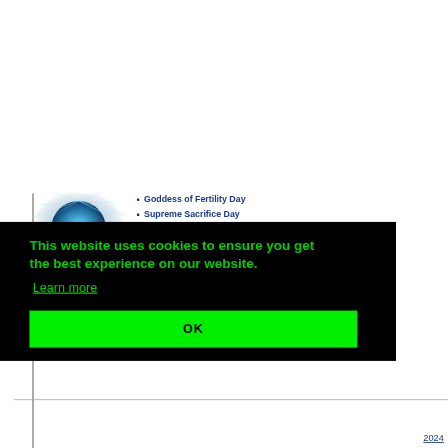[Figure (illustration): Blue glowing sphere/planet with light rays, partially visible at bottom left]
Goddess of Fertility Day
Supreme Sacrifice Day
This website uses cookies to ensure you get the best experience on our website.
Learn more
OK
2024